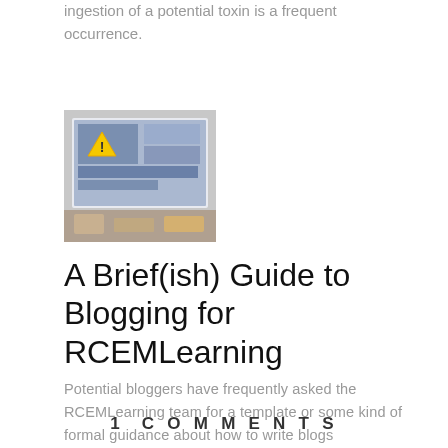ingestion of a potential toxin is a frequent occurrence.
[Figure (photo): Thumbnail image of a computer screen showing warning/toxin-related content with a yellow warning triangle icon]
A Brief(ish) Guide to Blogging for RCEMLearning
Potential bloggers have frequently asked the RCEMLearning team for a template or some kind of formal guidance about how to write blogs
1 COMMENTS